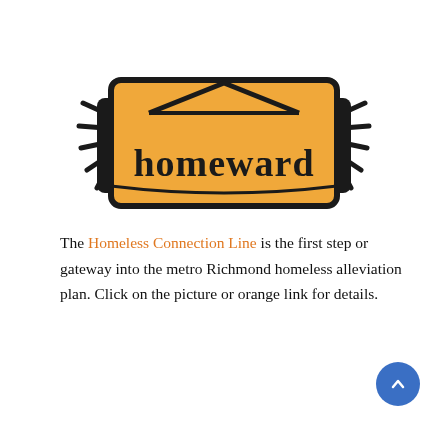[Figure (logo): Homeward logo: two hands holding a sign/banner shape with a house roofline at top, the word 'homeward' in bold serif text on a golden/tan background with thick black outline]
The Homeless Connection Line is the first step or gateway into the metro Richmond homeless alleviation plan. Click on the picture or orange link for details.